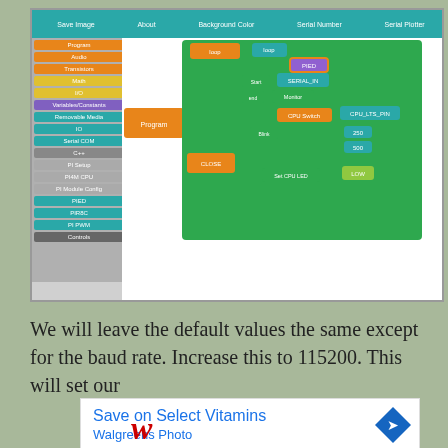[Figure (screenshot): A block-based programming IDE screenshot showing a sidebar with categories (Audio, Transistors, Math, I/O, Variables/Constants, Removable Media, IO, Serial COM, C++, PI Setup, PI4M CPU, PI Module Config, PIED, PIR8C, PI PWM, Controls) on the left, and a block programming canvas on the right with blocks including loop, PIED, SERIAL_IN, Monitor, CPU Switch, CPU_LTS_PIN, Blink, CPU Switch, Set CPU LED, LOW, and a toolbar at bottom with Save Image, About, Background Color, Serial Number, Serial Plotter]
We will leave the default values the same except for the baud rate. Increase this to 115200. This will set our
[Figure (photo): Walgreens advertisement: Save on Select Vitamins, Walgreens Photo, with Walgreens logo and a navigation/directions icon]